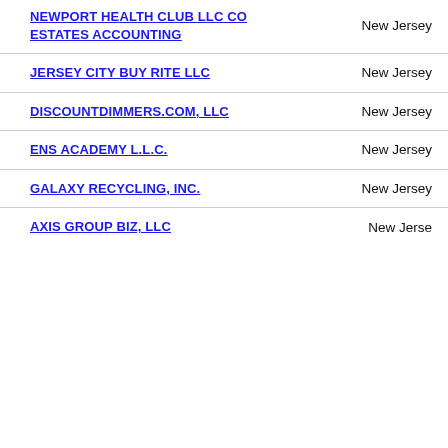NEWPORT HEALTH CLUB LLC CO ESTATES ACCOUNTING | New Jersey
JERSEY CITY BUY RITE LLC | New Jersey
DISCOUNTDIMMERS.COM, LLC | New Jersey
ENS ACADEMY L.L.C. | New Jersey
GALAXY RECYCLING, INC. | New Jersey
AXIS GROUP BIZ, LLC | New Jersey